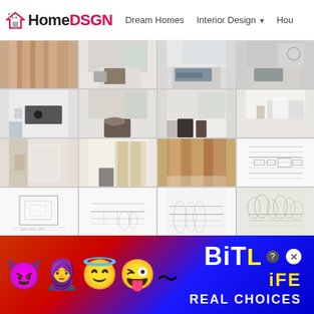HomeDSGN | Dream Homes | Interior Design
[Figure (screenshot): 4x4 grid of interior design photos of a minimalist Scandinavian home, including living rooms, bedrooms, kitchen, corridors, architectural plans, and a landscape sketch]
[Figure (photo): Advertisement banner for BitLife mobile game featuring cartoon emoji characters and yellow/red/blue background with text REAL CHOICES]